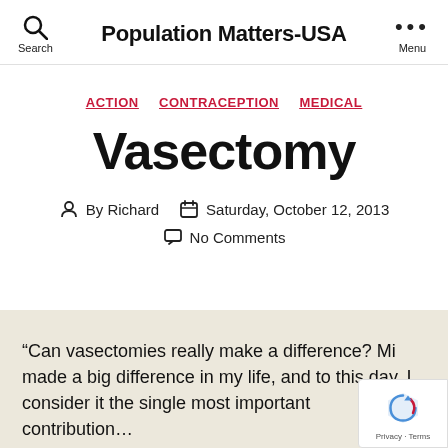Population Matters-USA
ACTION  CONTRACEPTION  MEDICAL
Vasectomy
By Richard  Saturday, October 12, 2013  No Comments
“Can vasectomies really make a difference? Mi… made a big difference in my life, and to this day, I… consider it the single most important contribution …